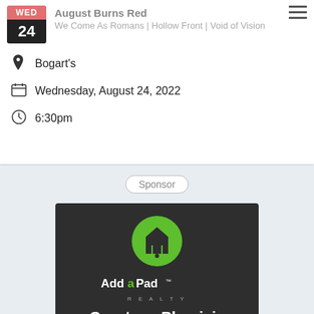August Burns Red
We Come As Romans | Hollow Front | Void of Vision
Bogart's
Wednesday, August 24, 2022
6:30pm
Sponsor
[Figure (logo): Add a Pad Realty advertisement with green house logo, agent name Courtney Phenicie, phone 859.801.6010, email COURTNEY@ADDAPAD.COM]